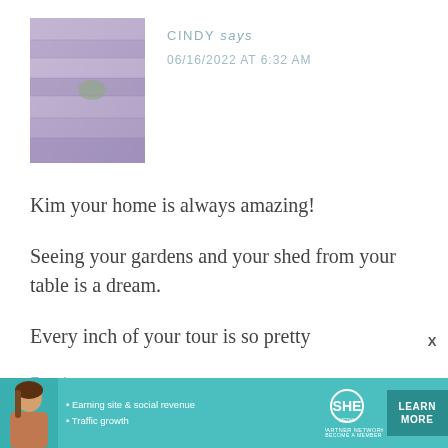[Figure (photo): Avatar thumbnail of lavender field, purple/mauve tones]
CINDY says 06/16/2022 AT 6:32 AM
Kim your home is always amazing!
Seeing your gardens and your shed from your table is a dream.
Every inch of your tour is so pretty
Reply
[Figure (infographic): SHE Partner Network advertisement banner: earn site & social revenue, traffic growth, LEARN MORE button]